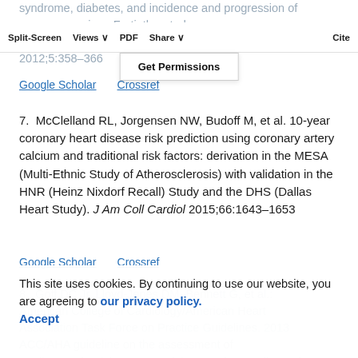syndrome, diabetes, and incidence and progression of coronary calcium. Fortieth study Atherosclerosis study. JACC Cardiovasc Imaging 2012;5:358–366
Split-Screen | Views | PDF | Share | Cite | Get Permissions
Google Scholar   Crossref
7.  McClelland RL, Jorgensen NW, Budoff M, et al. 10-year coronary heart disease risk prediction using coronary artery calcium and traditional risk factors: derivation in the MESA (Multi-Ethnic Study of Atherosclerosis) with validation in the HNR (Heinz Nixdorf Recall) Study and the DHS (Dallas Heart Study). J Am Coll Cardiol 2015;66:1643–1653
Google Scholar   Crossref
8.  Goff DC Jr, Lloyd-Jones DM, Bennett G, et al.: American College of Cardiology/American Heart Association Task Force on Practice Guidelines. 2013 ACC/AHA guideline on the assessment of cardiovascular risk: a report of the American College of
This site uses cookies. By continuing to use our website, you are agreeing to our privacy policy. Accept